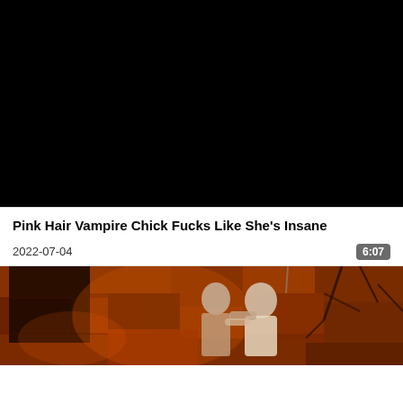[Figure (screenshot): Black video player area, no content visible]
Pink Hair Vampire Chick Fucks Like She's Insane
2022-07-04
6:07
[Figure (screenshot): Partial thumbnail of animated/game scene with figures in a dark reddish environment]